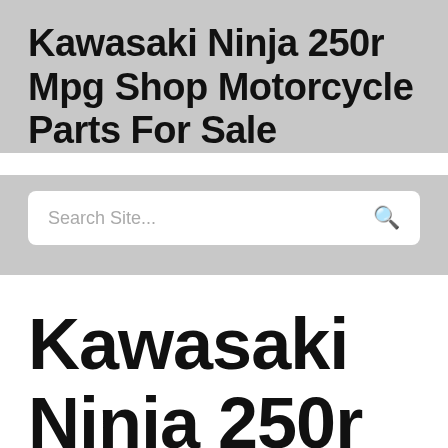Kawasaki Ninja 250r Mpg Shop Motorcycle Parts For Sale
[Figure (other): Search site input box with placeholder text 'Search Site...' and a search icon on the right]
Kawasaki Ninja 250r